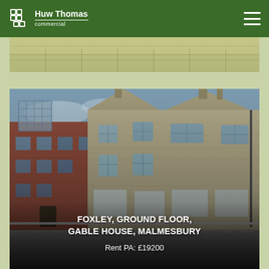Huw Thomas commercial
[Figure (photo): Partial top strip of an outdoor scene, faded/cropped]
[Figure (photo): Photograph of Foxley, Ground Floor, Gable House, Malmesbury — a stone building streetscape with an older red-brick building on the left and grey stone building on the right, street-level view]
FOXLEY, GROUND FLOOR, GABLE HOUSE, MALMESBURY
Rent PA: £19200